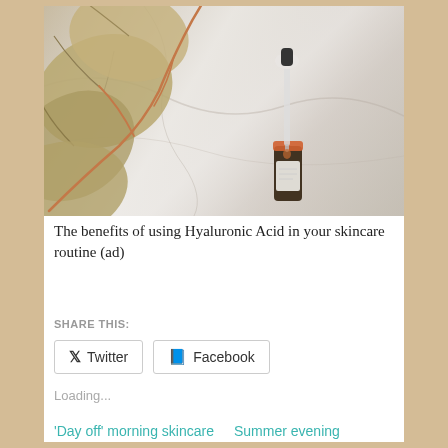[Figure (photo): A dropper bottle with serum/oil product lying on a marble surface surrounded by dried eucalyptus leaves with copper/rose gold stems]
The benefits of using Hyaluronic Acid in your skincare routine (ad)
SHARE THIS:
Loading...
'Day off' morning skincare
Summer evening skincare